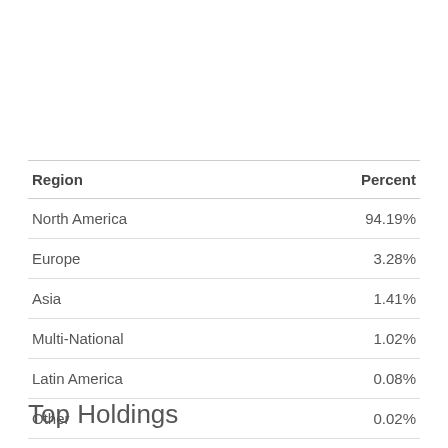| Region | Percent |
| --- | --- |
| North America | 94.19% |
| Europe | 3.28% |
| Asia | 1.41% |
| Multi-National | 1.02% |
| Latin America | 0.08% |
| Other | 0.02% |
Top Holdings